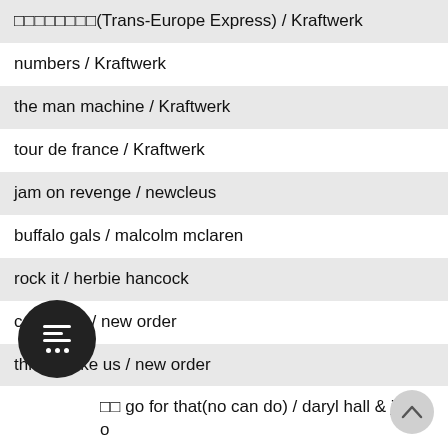□□□□□□□□(Trans-Europe Express) / Kraftwerk
numbers / Kraftwerk
the man machine / Kraftwerk
tour de france / Kraftwerk
jam on revenge / newcleus
buffalo gals / malcolm mclaren
rock it / herbie hancock
confusion / new order
thieves like us / new order
□□ go for that(no can do) / daryl hall & john o
□□□□□□□□□□□□□(Girls Just Want to Have Fun) / cyndi lauper
Time After Time / cyndi lauper